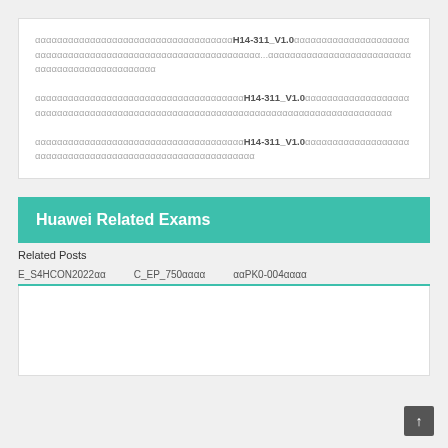ααααααααααααααααααααααααααααααααααααH14-311_V1.0αααααααααααααααααααααααααααααααααααααααααααααααααααααααααααααα...αααααααααααααααααααααααααααααααααααααααααααααααα
αααααααααααααααααααααααααααααααααααααH14-311_V1.0αααααααααααααααααααααααααααααααααααααααααααααααααααααααααααααααααααααααααααααααααααα
αααααααααααααααααααααααααααααααααααααH14-311_V1.0αααααααααααααααααααααααααααααααααααααααααααααααααααααααααααα
Huawei Related Exams
Related Posts
E_S4HCON2022αα
C_EP_750αααα
ααPK0-004αααα